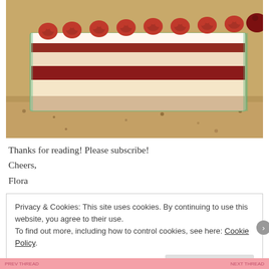[Figure (photo): A glass baking dish with a layered dessert topped with fresh raspberries, viewed from the side showing cream, fruit layers, and a crumb base, sitting on a granite countertop.]
Thanks for reading! Please subscribe!
Cheers,
Flora
Privacy & Cookies: This site uses cookies. By continuing to use this website, you agree to their use.
To find out more, including how to control cookies, see here: Cookie Policy
Close and accept